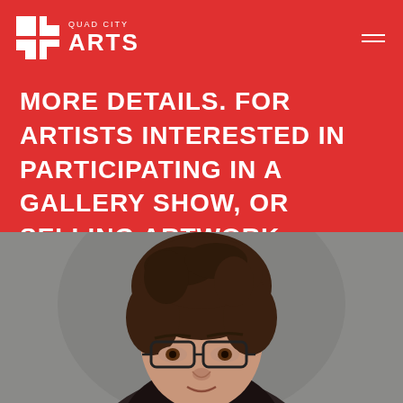QUAD CITY ARTS
MORE DETAILS. FOR ARTISTS INTERESTED IN PARTICIPATING IN A GALLERY SHOW, OR SELLING ARTWORK PLEASE CONTACT US
[Figure (photo): Portrait photo of a woman with short dark hair and glasses, shown from shoulders up against a grey background]